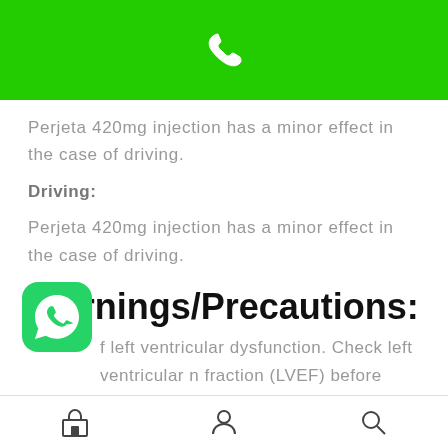[Figure (screenshot): Green header bar with white phone/call icon]
Perjeta 420mg injection has a minor effect in the case of driving.
Driving:
Perjeta 420mg injection has a minor effect in the case of driving.
Warnings/Precautions:
f left ventricular dysfunction. Check left ventricular n fraction (LVEF) before treatment and during interim
[Figure (logo): WhatsApp green icon bottom left]
Navigation bar with shop, person, and search icons